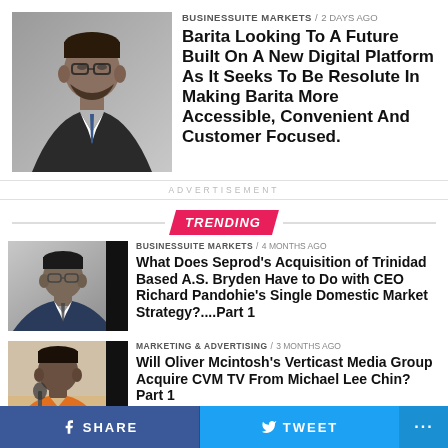[Figure (photo): Photo of a man in a suit and tie]
BUSINESSUITE MARKETS / 2 days ago
Barita Looking To A Future Built On A New Digital Platform As It Seeks To Be Resolute In Making Barita More Accessible, Convenient And Customer Focused.
ADVERTISEMENT
TRENDING
[Figure (photo): Photo of a man in a suit with glasses]
BUSINESSUITE MARKETS / 4 months ago
What Does Seprod's Acquisition of Trinidad Based A.S. Bryden Have to Do with CEO Richard Pandohie's Single Domestic Market Strategy?....Part 1
[Figure (photo): Photo of a man in an orange shirt at a microphone]
MARKETING & ADVERTISING / 3 months ago
Will Oliver Mcintosh's Verticast Media Group Acquire CVM TV From Michael Lee Chin? Part 1